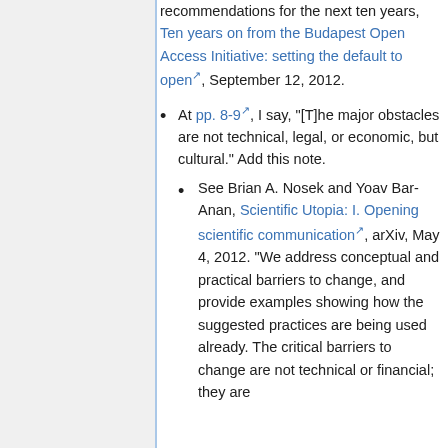recommendations for the next ten years, Ten years on from the Budapest Open Access Initiative: setting the default to open, September 12, 2012.
At pp. 8-9, I say, "[T]he major obstacles are not technical, legal, or economic, but cultural." Add this note.
See Brian A. Nosek and Yoav Bar-Anan, Scientific Utopia: I. Opening scientific communication, arXiv, May 4, 2012. "We address conceptual and practical barriers to change, and provide examples showing how the suggested practices are being used already. The critical barriers to change are not technical or financial; they are